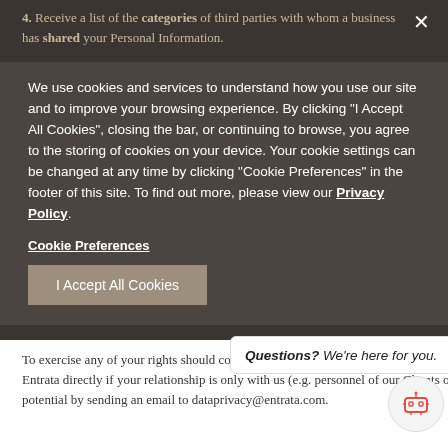4. Receive a list of the categories of third parties with whom a business has shared your Personal Information.
5. Request that a business delete any Personal Information that it has collected from you (subject to exceptions).
6. Not be discriminated against by a business (e.g., charged different rates, provided different levels of service, denied goods or services, or suggested any of the preceding) because of the individual rights granted above.
We use cookies and services to understand how you use our site and to improve your browsing experience. By clicking "I Accept All Cookies", closing the bar, or continuing to browse, you agree to the storing of cookies on your device. Your cookie settings can be changed at any time by clicking "Cookie Preferences" in the footer of this site. To find out more, please view our Privacy Policy.
Cookie Preferences
I Accept All Cookies
7. Designate an authorized agent to exercise any of the individual rights granted above on your behalf.
8. Opt-out of the sale of Personal Information, if applicable.
To exercise any of your rights should contact the Client with relationship, or contact Entrata directly if your relationship is only with us (e.g. personnel of our Clients or our potential by sending an email to dataprivacy@entrata.com.
Questions? We're here for you.